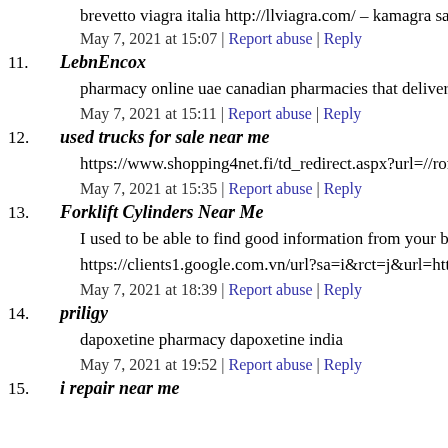brevetto viagra italia http://llviagra.com/ – kamagra same as vi
May 7, 2021 at 15:07 | Report abuse | Reply
11. LebnEncox
pharmacy online uae canadian pharmacies that deliver to the u
May 7, 2021 at 15:11 | Report abuse | Reply
12. used trucks for sale near me
https://www.shopping4net.fi/td_redirect.aspx?url=//romeomoto
May 7, 2021 at 15:35 | Report abuse | Reply
13. Forklift Cylinders Near Me
I used to be able to find good information from your blog artic
https://clients1.google.com.vn/url?sa=i&rct=j&url=https://fork
May 7, 2021 at 18:39 | Report abuse | Reply
14. priligy
dapoxetine pharmacy dapoxetine india
May 7, 2021 at 19:52 | Report abuse | Reply
15. i repair near me